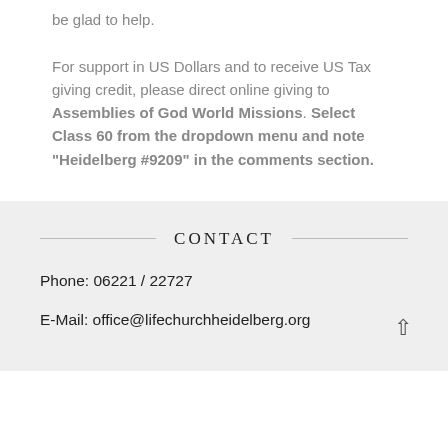be glad to help. For support in US Dollars and to receive US Tax giving credit, please direct online giving to Assemblies of God World Missions. Select Class 60 from the dropdown menu and note “Heidelberg #9209” in the comments section.
CONTACT
Phone: 06221 / 22727
E-Mail: office@lifechurchheidelberg.org